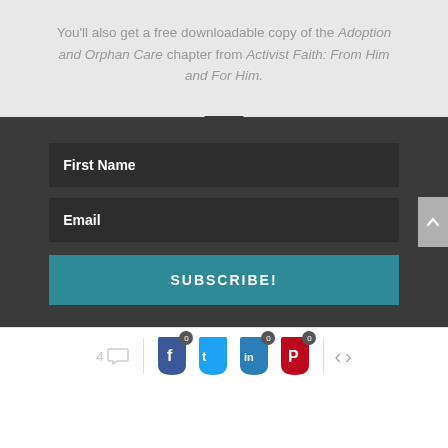You'll also get a free downloadable copy of the Adoption and Orphan Care chapter from Activist Faith: From Him and For Him.
First Name
Email
SUBSCRIBE!
4
0 0 0